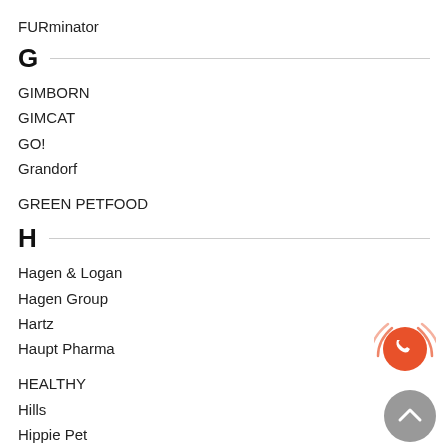FURminator
G
GIMBORN
GIMCAT
GO!
Grandorf
GREEN PETFOOD
H
Hagen & Logan
Hagen Group
Hartz
Haupt Pharma
HEALTHY
Hills
Hippie Pet
Home Food
[Figure (illustration): Orange phone call button with ringing arcs around it]
[Figure (illustration): Grey scroll-to-top button with upward chevron]